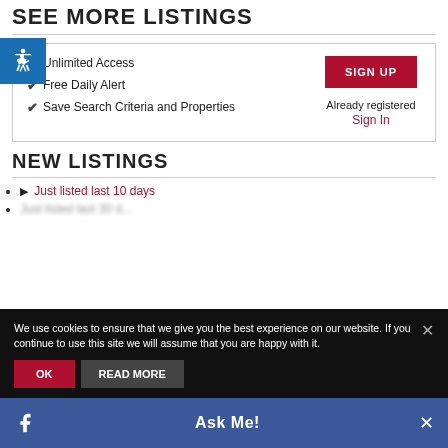SEE MORE LISTINGS
Unlimited Access
Free Daily Alert
Save Search Criteria and Properties
SIGN UP
Already registered
Sign In
NEW LISTINGS
Just listed last 10 days
We use cookies to ensure that we give you the best experience on our website. If you continue to use this site we will assume that you are happy with it.
OK  READ MORE
Ask Me!